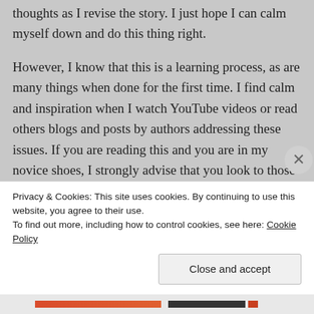thoughts as I revise the story. I just hope I can calm myself down and do this thing right.
However, I know that this is a learning process, as are many things when done for the first time. I find calm and inspiration when I watch YouTube videos or read others blogs and posts by authors addressing these issues. If you are reading this and you are in my novice shoes, I strongly advise that you look to those who have come before you for strength and inspiration as well. If you are reading this and you are an experienced author, I implore you for any guiding advice on these issues I am
Privacy & Cookies: This site uses cookies. By continuing to use this website, you agree to their use.
To find out more, including how to control cookies, see here: Cookie Policy
Close and accept